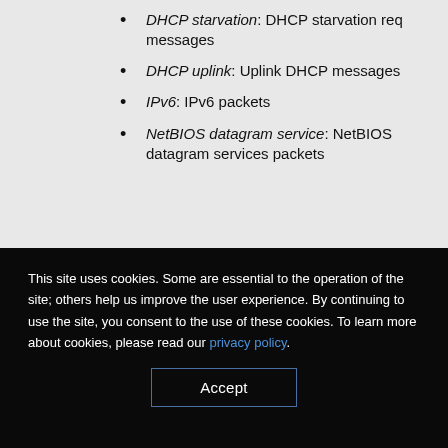DHCP starvation: DHCP starvation req messages
DHCP uplink: Uplink DHCP messages
IPv6: IPv6 packets
NetBIOS datagram service: NetBIOS datagram services packets
This site uses cookies. Some are essential to the operation of the site; others help us improve the user experience. By continuing to use the site, you consent to the use of these cookies. To learn more about cookies, please read our privacy policy.